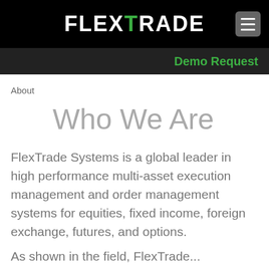[Figure (logo): FlexTrade logo with green X in white text on black background, with hamburger menu button]
Demo Request
About
Who We Are
FlexTrade Systems is a global leader in high performance multi-asset execution management and order management systems for equities, fixed income, foreign exchange, futures, and options.
As shown in the field, FlexTrade...